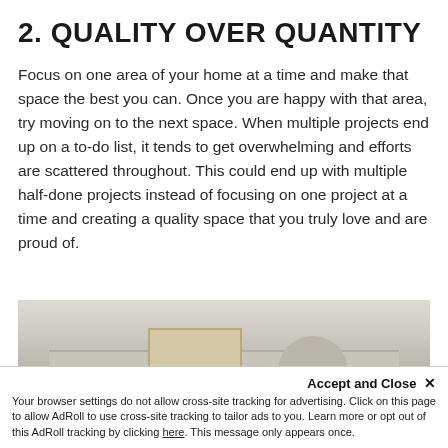2. QUALITY OVER QUANTITY
Focus on one area of your home at a time and make that space the best you can. Once you are happy with that area, try moving on to the next space. When multiple projects end up on a to-do list, it tends to get overwhelming and efforts are scattered throughout. This could end up with multiple half-done projects instead of focusing on one project at a time and creating a quality space that you truly love and are proud of.
[Figure (photo): Interior photo showing a shelf or mantle area with a framed artwork and decorative arch object on a light-colored background]
Accept and Close ×
Your browser settings do not allow cross-site tracking for advertising. Click on this page to allow AdRoll to use cross-site tracking to tailor ads to you. Learn more or opt out of this AdRoll tracking by clicking here. This message only appears once.